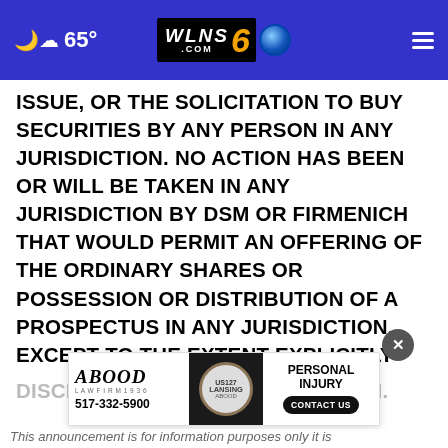65° WLNS6.com
ISSUE, OR THE SOLICITATION TO BUY SECURITIES BY ANY PERSON IN ANY JURISDICTION. NO ACTION HAS BEEN OR WILL BE TAKEN IN ANY JURISDICTION BY DSM OR FIRMENICH THAT WOULD PERMIT AN OFFERING OF THE ORDINARY SHARES OR POSSESSION OR DISTRIBUTION OF A PROSPECTUS IN ANY JURISDICTION, EXCEPT TO THE EXTENT EXPLICITLY DISCLOSED BY DSM OR FIRMENICH.
[Figure (screenshot): Abood Law Firm advertisement banner with US127 badge, phone number 517-332-5900, and Personal Injury Contact Us button]
This announcement is for information purposes only it is